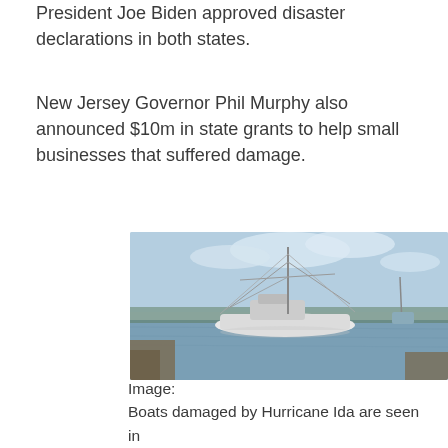President Joe Biden approved disaster declarations in both states.
New Jersey Governor Phil Murphy also announced $10m in state grants to help small businesses that suffered damage.
[Figure (photo): Boats damaged by Hurricane Ida seen in a waterway in Leeville, Louisiana. A large white shrimping vessel with tall masts is partially listing, with other damaged boats visible in the background.]
Image:
Boats damaged by Hurricane Ida are seen in Leeville, Louisiana